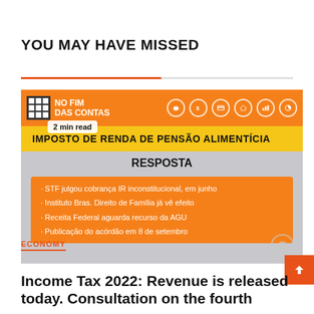YOU MAY HAVE MISSED
[Figure (screenshot): Screenshot of a Brazilian TV news segment graphic titled 'NO FIM DAS CONTAS' with subtitle 'IMPOSTO DE RENDA DE PENSÃO ALIMENTÍCIA' and answer box 'RESPOSTA' containing bullet points: STF julgou cobrança IR inconstitucional, em junho; Instituto Bras. Direito de Família já vê efeito; Receita Federal aguarda recurso da AGU; Publicação do acórdão em 8 de setembro. Shows '2 min read' badge.]
ECONOMY
Income Tax 2022: Revenue is released today. Consultation on the fourth